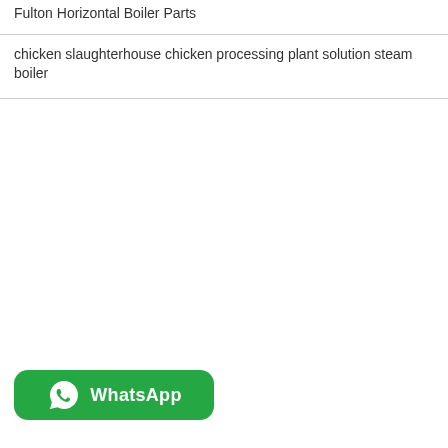Fulton Horizontal Boiler Parts
chicken slaughterhouse chicken processing plant solution steam boiler
[Figure (logo): WhatsApp green button with speech bubble phone icon and 'WhatsApp' label in white text]